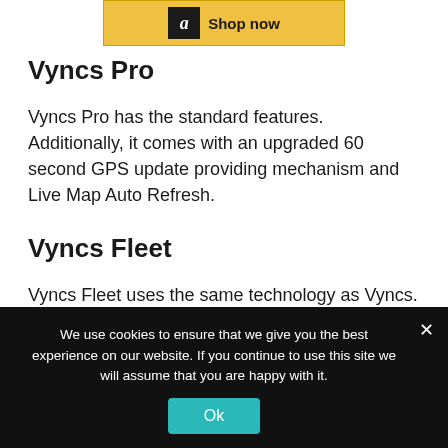[Figure (other): Amazon 'Shop now' advertisement banner with golden/yellow background and Amazon icon]
Vyncs Pro
Vyncs Pro has the standard features. Additionally, it comes with an upgraded 60 second GPS update providing mechanism and Live Map Auto Refresh.
Vyncs Fleet
Vyncs Fleet uses the same technology as Vyncs. However, additional features are
We use cookies to ensure that we give you the best experience on our website. If you continue to use this site we will assume that you are happy with it.